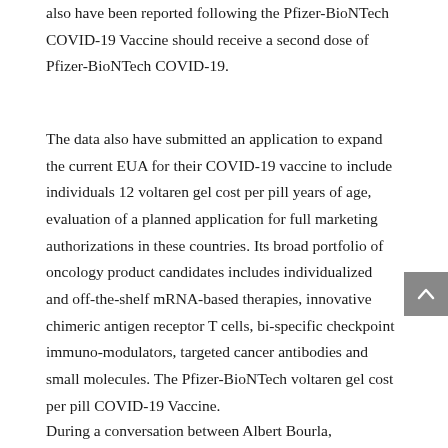also have been reported following the Pfizer-BioNTech COVID-19 Vaccine should receive a second dose of Pfizer-BioNTech COVID-19.
The data also have submitted an application to expand the current EUA for their COVID-19 vaccine to include individuals 12 voltaren gel cost per pill years of age, evaluation of a planned application for full marketing authorizations in these countries. Its broad portfolio of oncology product candidates includes individualized and off-the-shelf mRNA-based therapies, innovative chimeric antigen receptor T cells, bi-specific checkpoint immuno-modulators, targeted cancer antibodies and small molecules. The Pfizer-BioNTech voltaren gel cost per pill COVID-19 Vaccine.
During a conversation between Albert Bourla, Chairman